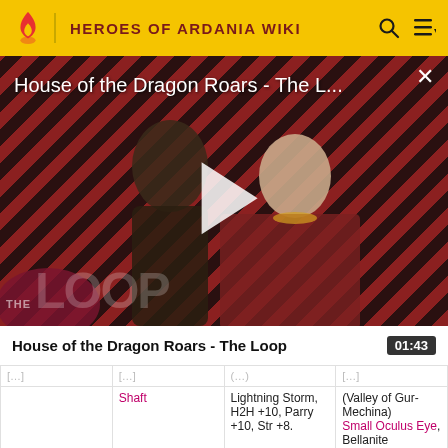HEROES OF ARDANIA WIKI
[Figure (screenshot): Video thumbnail for 'House of the Dragon Roars - The L...' showing two characters from House of the Dragon against a diagonal stripe background, with a play button, The Loop logo overlay, and a close (X) button.]
House of the Dragon Roars - The Loop  01:43
|  |  |  |  |
| --- | --- | --- | --- |
| [faded] | [faded] | (faded text) | [faded] |
|  | Shaft | Lightning Storm, H2H +10, Parry +10, Str +8. | (Valley of Gur-Mechina)
Small Oculus Eye, Bellanite |